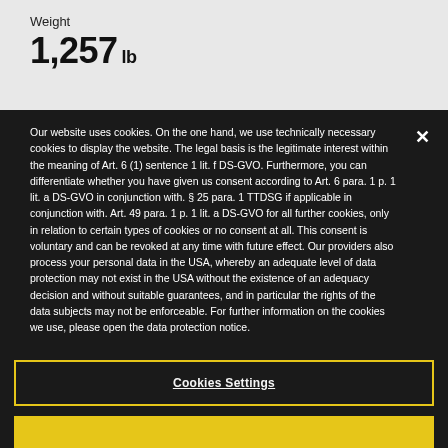Weight
1,257 lb
Our website uses cookies. On the one hand, we use technically necessary cookies to display the website. The legal basis is the legitimate interest within the meaning of Art. 6 (1) sentence 1 lit. f DS-GVO. Furthermore, you can differentiate whether you have given us consent according to Art. 6 para. 1 p. 1 lit. a DS-GVO in conjunction with. § 25 para. 1 TTDSG if applicable in conjunction with. Art. 49 para. 1 p. 1 lit. a DS-GVO for all further cookies, only in relation to certain types of cookies or no consent at all. This consent is voluntary and can be revoked at any time with future effect. Our providers also process your personal data in the USA, whereby an adequate level of data protection may not exist in the USA without the existence of an adequacy decision and without suitable guarantees, and in particular the rights of the data subjects may not be enforceable. For further information on the cookies we use, please open the data protection notice.
Cookies Settings